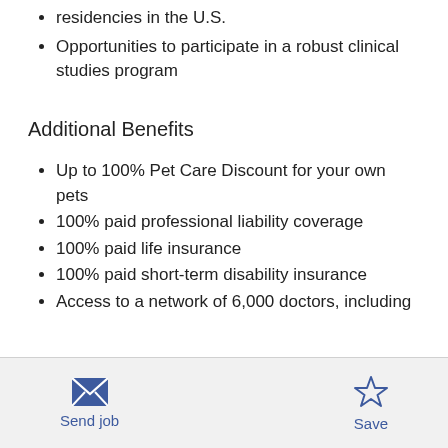residencies in the U.S.
Opportunities to participate in a robust clinical studies program
Additional Benefits
Up to 100% Pet Care Discount for your own pets
100% paid professional liability coverage
100% paid life insurance
100% paid short-term disability insurance
Access to a network of 6,000 doctors, including
Send job   Save